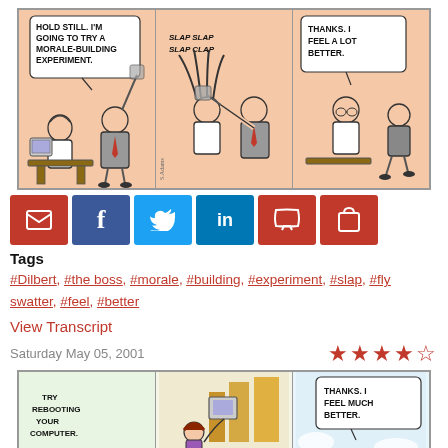[Figure (illustration): Dilbert comic strip with three panels. Panel 1: Dilbert at desk with boss saying 'HOLD STILL. I'M GOING TO TRY A MORALE-BUILDING EXPERIMENT.' Panel 2: Boss slapping Dilbert with fly swatter, sound effect 'SLAP SLAP SLAP CLAP'. Panel 3: Boss walking away, Dilbert saying 'THANKS. I FEEL A LOT BETTER.']
[Figure (infographic): Social sharing buttons: email (red), Facebook (blue), Twitter (blue), LinkedIn (blue), comment (red), cart (red)]
Tags
#Dilbert, #the boss, #morale, #building, #experiment, #slap, #fly swatter, #feel, #better
View Transcript
Saturday May 05, 2001
[Figure (illustration): Second Dilbert comic strip partially visible: Panel 1 text 'TRY REBOOTING YOUR COMPUTER.' Panel 2: computer being thrown out window. Panel 3: speech bubble 'THANKS. I FEEL MUCH BETTER.']